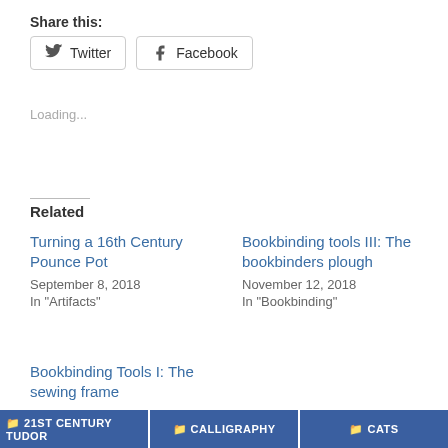Share this:
Twitter  Facebook
Loading...
Related
Turning a 16th Century Pounce Pot
September 8, 2018
In "Artifacts"
Bookbinding tools III: The bookbinders plough
November 12, 2018
In "Bookbinding"
Bookbinding Tools I: The sewing frame
October 21, 2018
In "Bookbinding"
21ST CENTURY TUDOR   CALLIGRAPHY   CATS